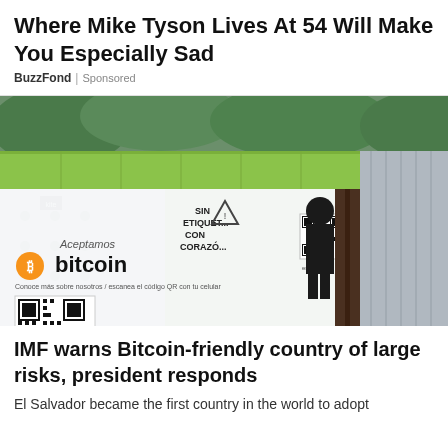Where Mike Tyson Lives At 54 Will Make You Especially Sad
BuzzFond | Sponsored
[Figure (photo): Photograph of a market stall or small shop with a Bitcoin acceptance sign reading 'Aceptamos bitcoin' with QR code and orange Bitcoin logo, along with a banner text in Spanish. Green corrugated metal roof visible. A person is seen entering the structure.]
IMF warns Bitcoin-friendly country of large risks, president responds
El Salvador became the first country in the world to adopt